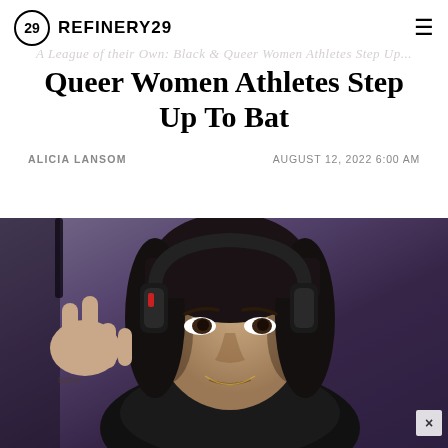REFINERY29
Queer Women Athletes Step Up To Bat
ALICIA LANSOM   AUGUST 12, 2022 6:00 AM
[Figure (photo): Close-up photo of a person with dark hair wearing headphones and a black tank top, making a peace sign gesture with their hand. The image has a purple-tinted, dimly lit background. A small X close button is visible in the lower right corner.]